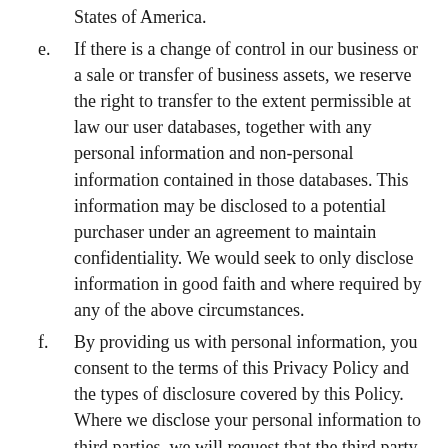States of America.
e. If there is a change of control in our business or a sale or transfer of business assets, we reserve the right to transfer to the extent permissible at law our user databases, together with any personal information and non-personal information contained in those databases. This information may be disclosed to a potential purchaser under an agreement to maintain confidentiality. We would seek to only disclose information in good faith and where required by any of the above circumstances.
f. By providing us with personal information, you consent to the terms of this Privacy Policy and the types of disclosure covered by this Policy. Where we disclose your personal information to third parties, we will request that the third party follow this Policy